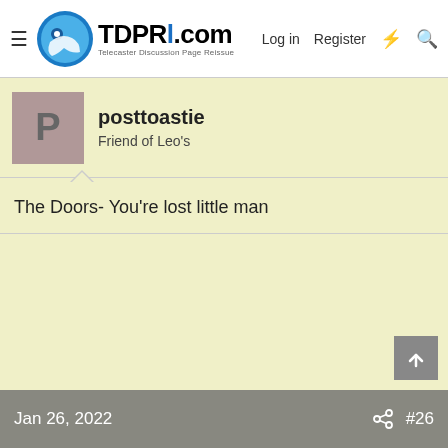TDPRI.com — Telecaster Discussion Page Reissue | Log in | Register
posttoastie
Friend of Leo's
The Doors- You're lost little man
Jan 26, 2022  #26